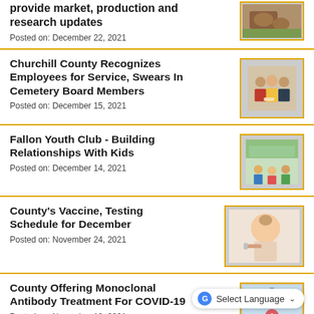provide market, production and research updates
Posted on: December 22, 2021
[Figure (photo): Photo of cattle/livestock]
Churchill County Recognizes Employees for Service, Swears In Cemetery Board Members
Posted on: December 15, 2021
[Figure (photo): Photo of people standing together, employee recognition]
Fallon Youth Club - Building Relationships With Kids
Posted on: December 14, 2021
[Figure (photo): Photo of youth club activity, children in room]
County's Vaccine, Testing Schedule for December
Posted on: November 24, 2021
[Figure (photo): Photo of child receiving vaccine or medical procedure]
County Offering Monoclonal Antibody Treatment For COVID-19
Posted on: November 10, 2021
[Figure (photo): Photo of COVID-19 treatment, syringe/medical imagery]